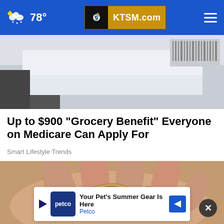78° KTSM.com
[Figure (photo): Partially cropped photo of white envelopes on a surface, with a barcode visible in the upper right.]
Up to $900 "Grocery Benefit" Everyone on Medicare Can Apply For
Smart Lifestyle Trends
[Figure (photo): Close-up photo of a hand holding several cashew nuts.]
Your Pet's Summer Gear Is Here Petco